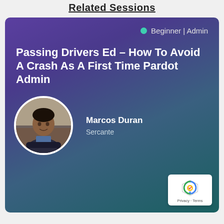Related Sessions
[Figure (other): Session card with purple-to-teal gradient background showing a Salesforce/Pardot conference session. Includes badge 'Beginner | Admin', session title 'Passing Drivers Ed – How To Avoid A Crash As A First Time Pardot Admin', speaker photo of Marcos Duran, and company name Sercante. reCAPTCHA badge in bottom right corner.]
Passing Drivers Ed – How To Avoid A Crash As A First Time Pardot Admin
Beginner | Admin
Marcos Duran
Sercante